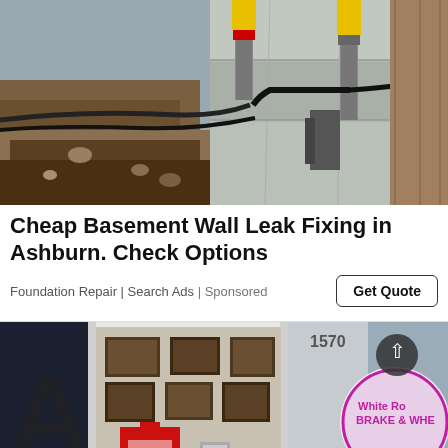[Figure (photo): Photograph of basement wall foundation repair work showing excavated dirt trench next to a concrete foundation wall with yellow-tipped hydraulic piers and black pipes/cables attached to the wall.]
Cheap Basement Wall Leak Fixing in Ashburn. Check Options
Foundation Repair | Search Ads | Sponsored
[Figure (photo): Photograph of a vehicle or shop interior showing awards/plaques on a wall, merchandise including a red jersey, and a White Rock Brake & Wheel sign visible in the background.]